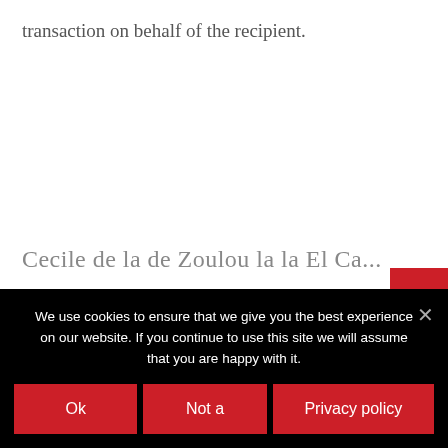transaction on behalf of the recipient.
We use cookies to ensure that we give you the best experience on our website. If you continue to use this site we will assume that you are happy with it.
Ok
Not a
Privacy policy